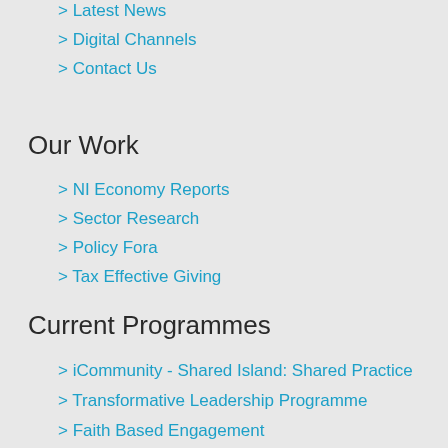> Latest News
> Digital Channels
> Contact Us
Our Work
> NI Economy Reports
> Sector Research
> Policy Fora
> Tax Effective Giving
Current Programmes
> iCommunity - Shared Island: Shared Practice
> Transformative Leadership Programme
> Faith Based Engagement